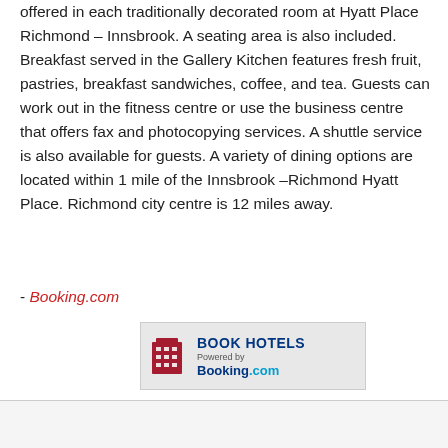offered in each traditionally decorated room at Hyatt Place Richmond – Innsbrook. A seating area is also included. Breakfast served in the Gallery Kitchen features fresh fruit, pastries, breakfast sandwiches, coffee, and tea. Guests can work out in the fitness centre or use the business centre that offers fax and photocopying services. A shuttle service is also available for guests. A variety of dining options are located within 1 mile of the Innsbrook –Richmond Hyatt Place. Richmond city centre is 12 miles away.
- Booking.com
[Figure (logo): Book Hotels banner powered by Booking.com with hotel building icon]
Map